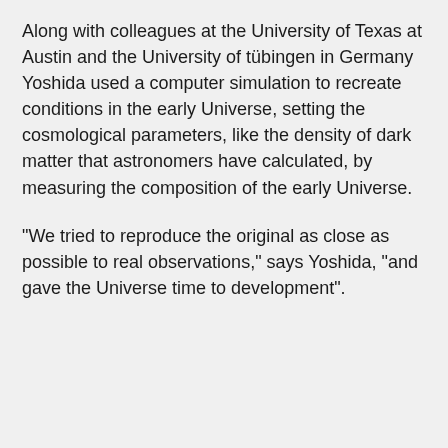Along with colleagues at the University of Texas at Austin and the University of tübingen in Germany Yoshida used a computer simulation to recreate conditions in the early Universe, setting the cosmological parameters, like the density of dark matter that astronomers have calculated, by measuring the composition of the early Universe.
"We tried to reproduce the original as close as possible to real observations," says Yoshida, "and gave the Universe time to development".